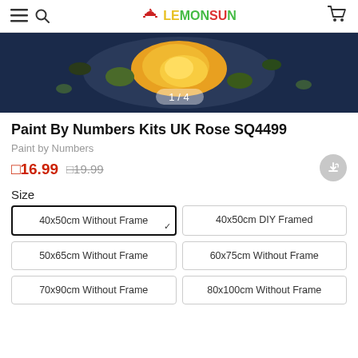LEMONSUN
[Figure (photo): Product image of a paint-by-numbers kit showing a yellow rose on a dark blue background, with image counter 1/4]
Paint By Numbers Kits UK Rose SQ4499
Paint by Numbers
£16.99  £19.99
Size
40x50cm Without Frame (selected)
40x50cm DIY Framed
50x65cm Without Frame
60x75cm Without Frame
70x90cm Without Frame
80x100cm Without Frame